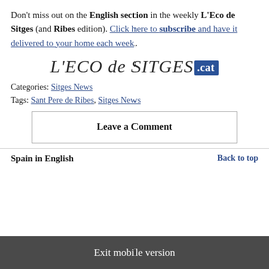Don't miss out on the English section in the weekly L'Eco de Sitges (and Ribes edition). Click here to subscribe and have it delivered to your home each week.
[Figure (logo): L'ECO de SITGES .cat logo — italic serif text with a blue rounded rectangle badge for '.cat']
Categories: Sitges News
Tags: Sant Pere de Ribes, Sitges News
Leave a Comment
Spain in English    Back to top
Exit mobile version